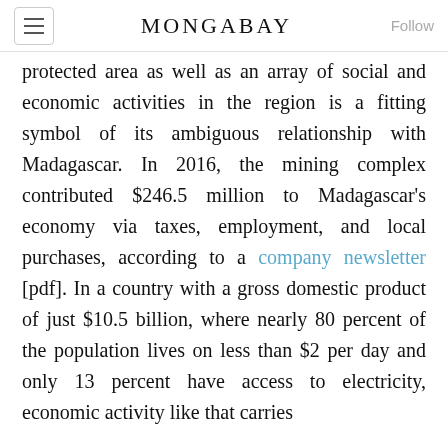MONGABAY
protected area as well as an array of social and economic activities in the region is a fitting symbol of its ambiguous relationship with Madagascar. In 2016, the mining complex contributed $246.5 million to Madagascar's economy via taxes, employment, and local purchases, according to a company newsletter [pdf]. In a country with a gross domestic product of just $10.5 billion, where nearly 80 percent of the population lives on less than $2 per day and only 13 percent have access to electricity, economic activity like that carries